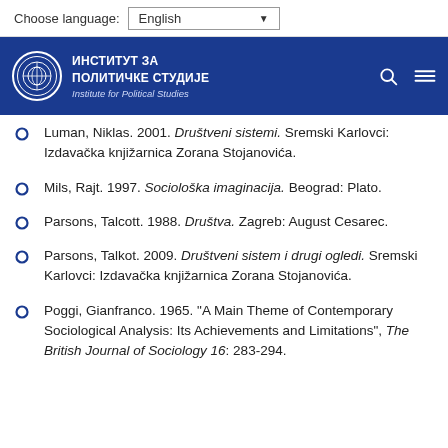Choose language: English
[Figure (logo): Institute for Political Studies logo — circular emblem with Cyrillic and Latin text on blue banner]
Luman, Niklas. 2001. Društveni sistemi. Sremski Karlovci: Izdavačka knjižarnica Zorana Stojanovića.
Mils, Rajt. 1997. Sociološka imaginacija. Beograd: Plato.
Parsons, Talcott. 1988. Društva. Zagreb: August Cesarec.
Parsons, Talkot. 2009. Društveni sistem i drugi ogledi. Sremski Karlovci: Izdavačka knjižarnica Zorana Stojanovića.
Poggi, Gianfranco. 1965. "A Main Theme of Contemporary Sociological Analysis: Its Achievements and Limitations", The British Journal of Sociology 16: 283-294.